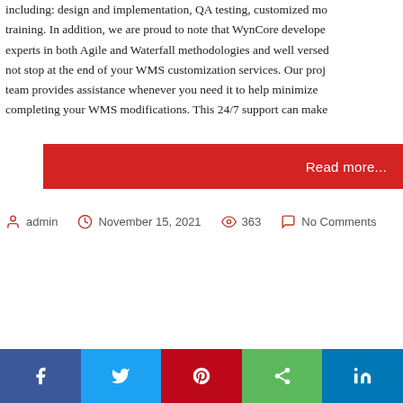including: design and implementation, QA testing, customized training. In addition, we are proud to note that WynCore developers are experts in both Agile and Waterfall methodologies and well versed… not stop at the end of your WMS customization services. Our project team provides assistance whenever you need it to help minimize risk completing your WMS modifications. This 24/7 support can make…
Read more...
admin  November 15, 2021  363  No Comments
[Figure (other): Social share bar with Facebook, Twitter, Pinterest, Share, and LinkedIn buttons]